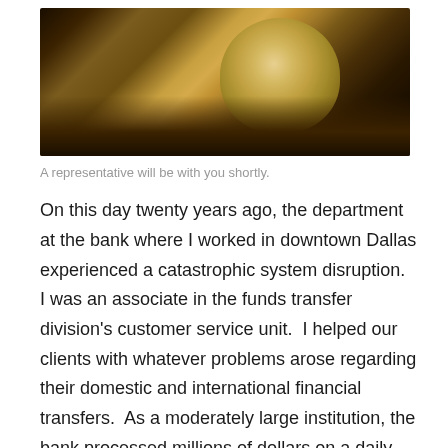[Figure (photo): A photograph of a human skull and skeletal hand resting on what appears to be a keyboard or books, with a dark warm-toned background and cobwebs visible.]
A representative will be with you shortly.
On this day twenty years ago, the department at the bank where I worked in downtown Dallas experienced a catastrophic system disruption.  I was an associate in the funds transfer division's customer service unit.  I helped our clients with whatever problems arose regarding their domestic and international financial transfers.  As a moderately large institution, the bank processed millions of dollars on a daily basis; sending money all over the country and all over the world.  With a few exceptions, things operated relatively smoothly.